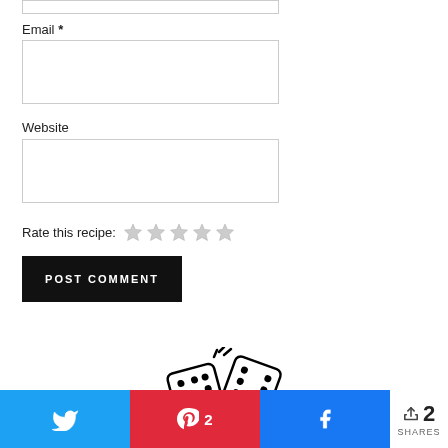Email *
Website
Rate this recipe: ☆ ☆ ☆ ☆ ☆
POST COMMENT
[Figure (illustration): Two dice colliding illustration in black and white]
2 SHARES